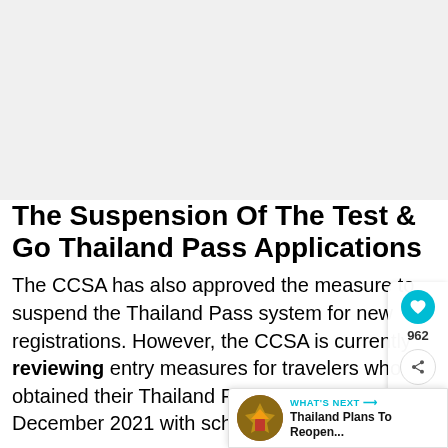The Suspension Of The Test & Go Thailand Pass Applications
The CCSA has also approved the measure to suspend the Thailand Pass system for new registrations. However, the CCSA is currently reviewing entry measures for travelers who've obtained their Thailand Pass QR code in December 2021 with scheduled arrival dates in